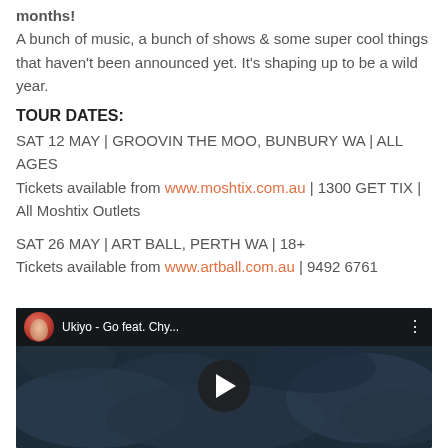months! A bunch of music, a bunch of shows & some super cool things that haven't been announced yet. It's shaping up to be a wild year.
TOUR DATES:
SAT 12 MAY | GROOVIN THE MOO, BUNBURY WA | ALL AGES
Tickets available from www.moshtix.com.au | 1300 GET TIX | All Moshtix Outlets
SAT 26 MAY | ART BALL, PERTH WA | 18+
Tickets available from www.artball.com.au | 9492 6761
[Figure (screenshot): YouTube video thumbnail showing 'Ukiyo - Go feat. Chy...' with a circular avatar of a person, a play button in the center, and a dark blue/grey background resembling clouds or water.]